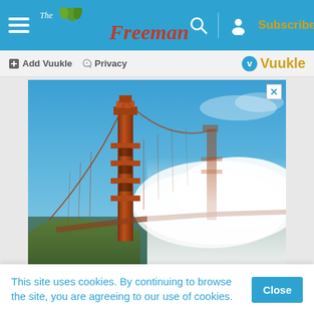The Freeman — Subscribe
Add Vuukle   Privacy   Vuukle
[Figure (photo): Photograph of the Golden Gate Bridge tower rising above dense white fog over the San Francisco Bay, with a bright blue sky above and the green headlands in the foreground.]
Advertisement
This site uses cookies. By continuing to browse the site, you are agreeing to our use of cookies.